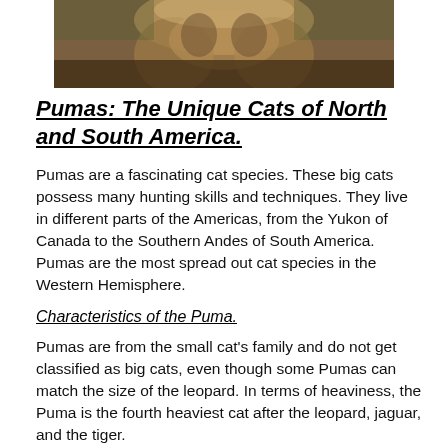[Figure (photo): Close-up photograph of a puma (brown/tan fur), cropped at top of page showing the animal's body and face partially visible]
Pumas: The Unique Cats of North and South America.
Pumas are a fascinating cat species. These big cats possess many hunting skills and techniques. They live in different parts of the Americas, from the Yukon of Canada to the Southern Andes of South America. Pumas are the most spread out cat species in the Western Hemisphere.
Characteristics of the Puma.
Pumas are from the small cat's family and do not get classified as big cats, even though some Pumas can match the size of the leopard. In terms of heaviness, the Puma is the fourth heaviest cat after the leopard, jaguar, and the tiger.
The average weight of an adult Puma